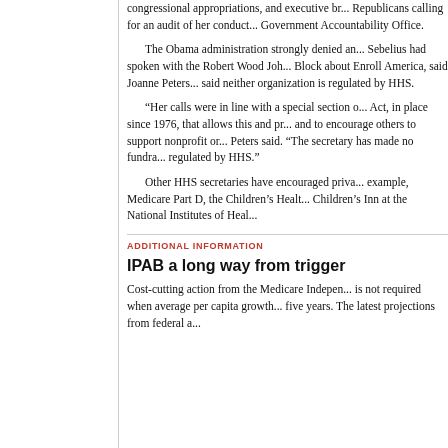congressional appropriations, and executive br... Republicans calling for an audit of her conduct... Government Accountability Office.
The Obama administration strongly denied an... Sebelius had spoken with the Robert Wood Joh... Block about Enroll America, said Joanne Peters... said neither organization is regulated by HHS.
“Her calls were in line with a special section o... Act, in place since 1976, that allows this and pr... and to encourage others to support nonprofit or... Peters said. “The secretary has made no fundra... regulated by HHS.”
Other HHS secretaries have encouraged priva... example, Medicare Part D, the Children’s Healt... Children’s Inn at the National Institutes of Heal...
ADDITIONAL INFORMATION
IPAB a long way from trigger
Cost-cutting action from the Medicare Indepen... is not required when average per capita growth... five years. The latest projections from federal a...